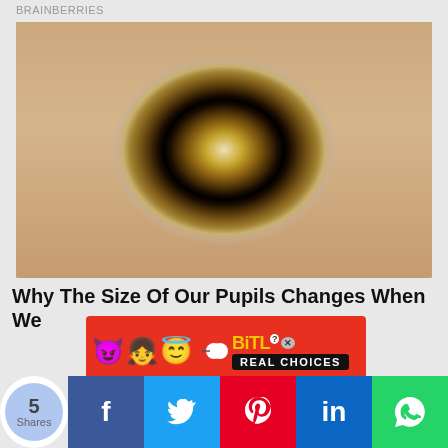BRAINBERRIES
[Figure (photo): Close-up macro photograph of a human eye with a cloudy/milky white pupil (possible cataract), brown iris with detailed texture, surrounded by skin and eyelashes]
Why The Size Of Our Pupils Changes When We
[Figure (other): BitLife advertisement banner with emoji characters (devil, girl, angel) on red background with 'BitLife Real Choices' text]
[Figure (infographic): Social share bar showing 5 Shares with Facebook, Twitter, Pinterest, LinkedIn, and WhatsApp share buttons]